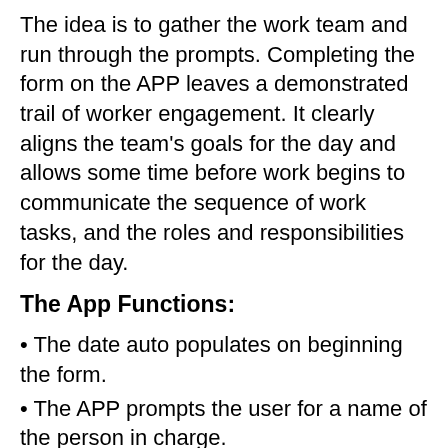The idea is to gather the work team and run through the prompts. Completing the form on the APP leaves a demonstrated trail of worker engagement. It clearly aligns the team's goals for the day and allows some time before work begins to communicate the sequence of work tasks, and the roles and responsibilities for the day.
The App Functions:
• The date auto populates on beginning the form.
• The APP prompts the user for a name of the person in charge.
• There is a GPS function to lock in your location in google maps (this function works regardless of internet connectivity).
• There are three simple questions to answer (voice to text can be used).